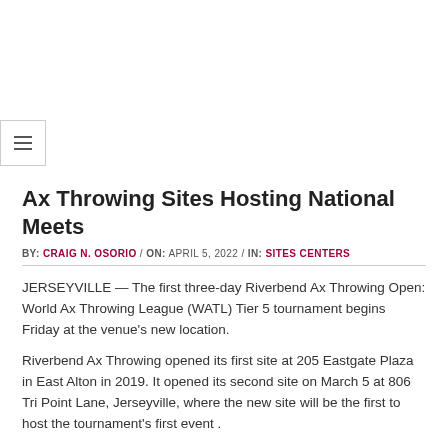Ax Throwing Sites Hosting National Meets
BY: CRAIG N. OSORIO / ON: APRIL 5, 2022 / IN: SITES CENTERS
JERSEYVILLE — The first three-day Riverbend Ax Throwing Open: World Ax Throwing League (WATL) Tier 5 tournament begins Friday at the venue's new location.
Riverbend Ax Throwing opened its first site at 205 Eastgate Plaza in East Alton in 2019. It opened its second site on March 5 at 806 Tri Point Lane, Jerseyville, where the new site will be the first to host the tournament's first event .